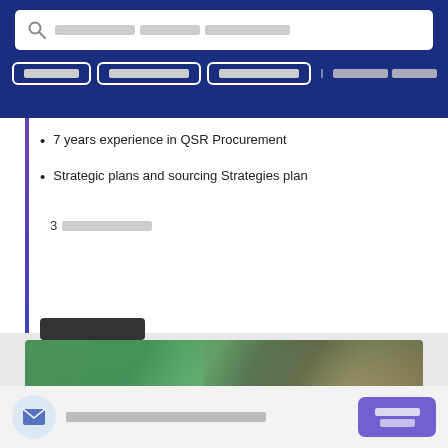[Figure (screenshot): Search bar with magnifying glass icon and placeholder text blocks on dark navy background]
[Figure (screenshot): Navigation bar with three bordered button tabs and plain text link on navy background]
7 years experience in QSR Procurement
Strategic plans and sourcing Strategies plan
3 [redacted]
[Figure (photo): Banner image of a smiling young woman outdoors in a green park setting with text overlay 'Work, and Smile']
[Figure (screenshot): Dark button at bottom of content area]
[Figure (screenshot): Footer bar with mail envelope icon, redacted text, and purple CTA button]